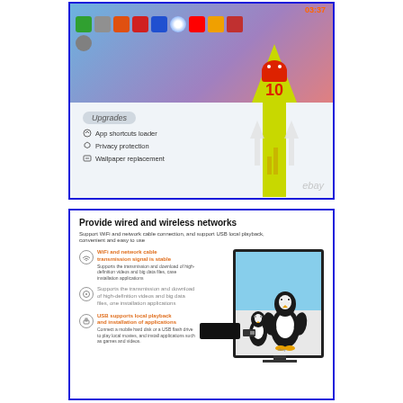[Figure (screenshot): Android TV box promotional image showing Android 10 upgrade with app shortcuts loader, privacy protection, and wallpaper replacement features. Shows a TV interface with app icons and a large yellow upward arrow with Android robot logo and number 10. Watermarked with 'ebay'.]
[Figure (infographic): Promotional image for TV box showing 'Provide wired and wireless networks' with WiFi and network cable, USB playback features. Shows penguins on a TV screen, a black TV box device, and USB stick. Watermarked with 'ebay'.]